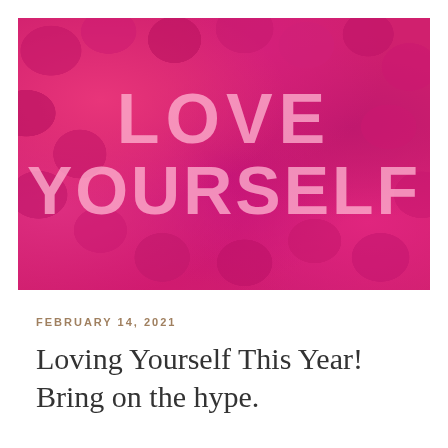[Figure (photo): Close-up photograph of pink/magenta hydrangea flowers filling the entire frame, with large semi-transparent text 'LOVE YOURSELF' overlaid in light pink bold uppercase letters]
FEBRUARY 14, 2021
Loving Yourself This Year! Bring on the hype.